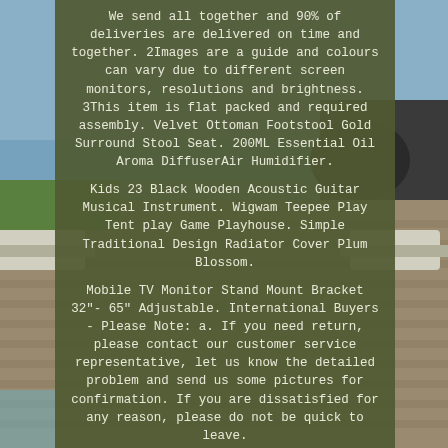[Figure (photo): Outdoor scene with lounge chairs near a pool, with ocean and rocks in background, overlaid with a dark olive/green semi-transparent panel containing product text.]
We send all together and 90% of deliveries are delivered on time and together. 2Images are a guide and colours can vary due to different screen monitors, resolutions and brightness. 3This item is flat packed and required assembly. Velvet Ottoman Footstool Gold Surround Stool Seat. 200ML Essential Oil Aroma DiffuserAir Humidifier.
Kids 23 Black Wooden Acoustic Guitar Musical Instrument. Wigwam Teepee Play Tent play Game Playhouse. Simple Traditional Design Radiator Cover Plum Blossom.
Mobile TV Monitor Stand Mount Bracket 32"- 65" Adjustable. International Buyers - Please Note: a. If you need return, please contact our customer service representative, let us know the detailed problem and send us some pictures for confirmation. If you are dissatisfied for any reason, please do not be quick to leave.